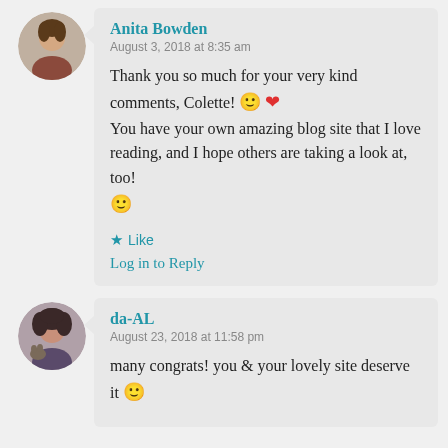[Figure (photo): Round avatar photo of Anita Bowden, a woman]
Anita Bowden
August 3, 2018 at 8:35 am
Thank you so much for your very kind comments, Colette! 🙂 ❤ You have your own amazing blog site that I love reading, and I hope others are taking a look at, too! 🙂
★ Like
Log in to Reply
[Figure (photo): Round avatar photo of da-AL, a woman with dark curly hair holding a cat]
da-AL
August 23, 2018 at 11:58 pm
many congrats! you & your lovely site deserve it 🙂